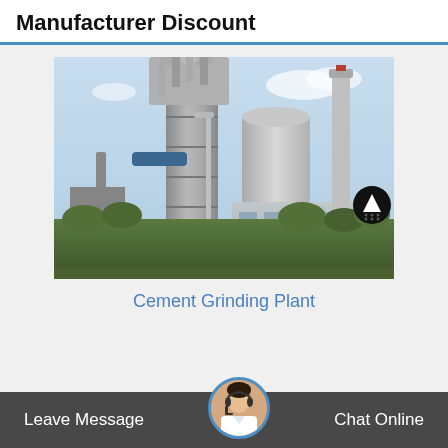Manufacturer Discount
[Figure (photo): Photograph of a cement grinding plant with tall industrial towers, cylindrical silos, a tall chimney, and surrounding greenery under a partly cloudy sky.]
Cement Grinding Plant
Leave Message  Chat Online